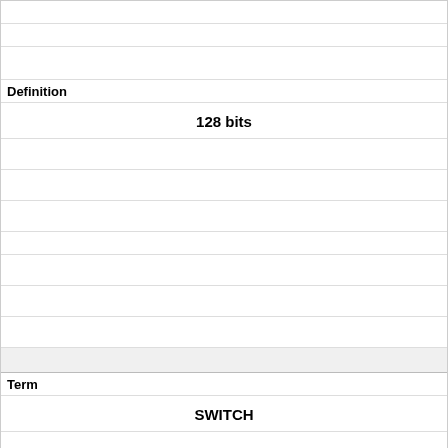|  |  |
|  |  |
| Definition |  |
|  | 128 bits |
|  |  |
|  |  |
|  |  |
|  |  |
|  |  |
|  |  |
| Term |  |
|  | SWITCH |
|  |  |
|  |  |
|  |  |